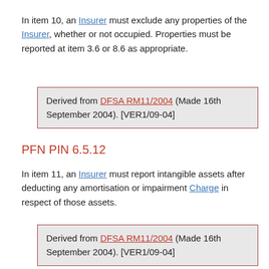In item 10, an Insurer must exclude any properties of the Insurer, whether or not occupied. Properties must be reported at item 3.6 or 8.6 as appropriate.
Derived from DFSA RM11/2004 (Made 16th September 2004). [VER1/09-04]
PFN PIN 6.5.12
In item 11, an Insurer must report intangible assets after deducting any amortisation or impairment Charge in respect of those assets.
Derived from DFSA RM11/2004 (Made 16th September 2004). [VER1/09-04]